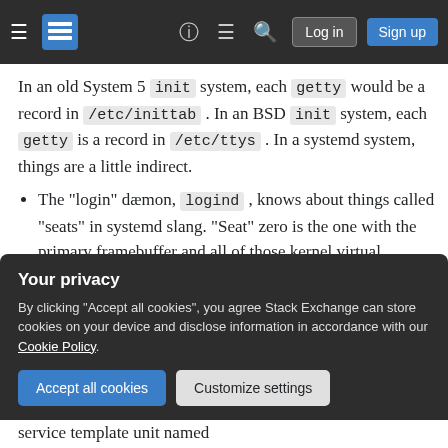[Figure (screenshot): Stack Exchange website navigation bar with hamburger menu, logo, question mark icon, chat icon, search icon, Log in button, and Sign up button on dark background]
In an old System 5 init system, each getty would be a record in /etc/inittab . In an BSD init system, each getty is a record in /etc/ttys . In a systemd system, things are a little indirect.
The "login" dæmon, logind , knows about things called "seats" in systemd slang. "Seat" zero is the one with the primary framebuffer and all of those kernel virtual terminals.
For that seat, logind attempts to start N
Your privacy
By clicking "Accept all cookies", you agree Stack Exchange can store cookies on your device and disclose information in accordance with our Cookie Policy.
service template unit named